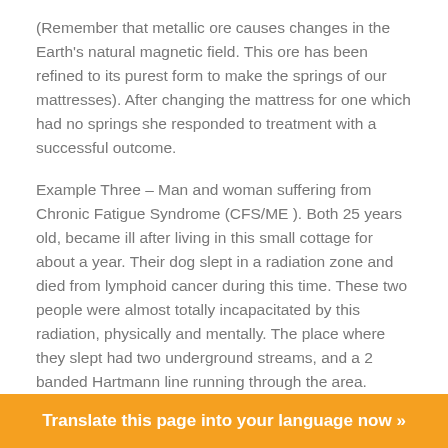(Remember that metallic ore causes changes in the Earth's natural magnetic field. This ore has been refined to its purest form to make the springs of our mattresses). After changing the mattress for one which had no springs she responded to treatment with a successful outcome.
Example Three – Man and woman suffering from Chronic Fatigue Syndrome (CFS/ME ). Both 25 years old, became ill after living in this small cottage for about a year. Their dog slept in a radiation zone and died from lymphoid cancer during this time. These two people were almost totally incapacitated by this radiation, physically and mentally. The place where they slept had two underground streams, and a 2 banded Hartmann line running through the area. These produced the following symptoms: very severe energy depleted state, insomnia, depression, headaches, short-term memory
Translate this page into your language now »